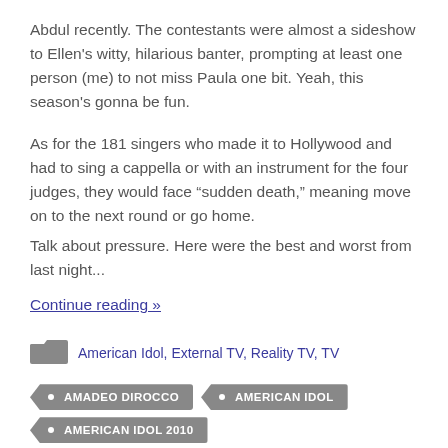Abdul recently. The contestants were almost a sideshow to Ellen’s witty, hilarious banter, prompting at least one person (me) to not miss Paula one bit. Yeah, this season’s gonna be fun.
As for the 181 singers who made it to Hollywood and had to sing a cappella or with an instrument for the four judges, they would face “sudden death,” meaning move on to the next round or go home.
Talk about pressure. Here were the best and worst from last night...
Continue reading »
American Idol, External TV, Reality TV, TV
AMADEO DIROCCO
AMERICAN IDOL
AMERICAN IDOL 2010
AMERICAN IDOL 2010 BLOG